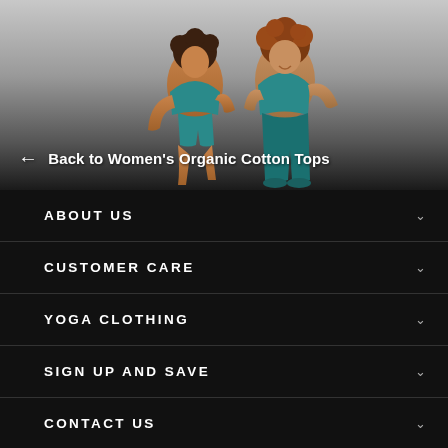[Figure (photo): Two women in teal/blue athletic wear posing back-to-back on a gradient grey background. A navigation back link reads 'Back to Women's Organic Cotton Tops' with a left arrow.]
ABOUT US
CUSTOMER CARE
YOGA CLOTHING
SIGN UP AND SAVE
CONTACT US